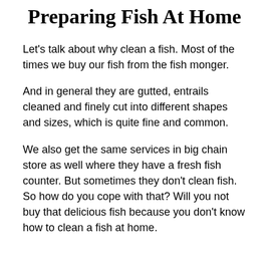Preparing Fish At Home
Let's talk about why clean a fish. Most of the times we buy our fish from the fish monger.
And in general they are gutted, entrails cleaned and finely cut into different shapes and sizes, which is quite fine and common.
We also get the same services in big chain store as well where they have a fresh fish counter. But sometimes they don't clean fish. So how do you cope with that? Will you not buy that delicious fish because you don't know how to clean a fish at home.